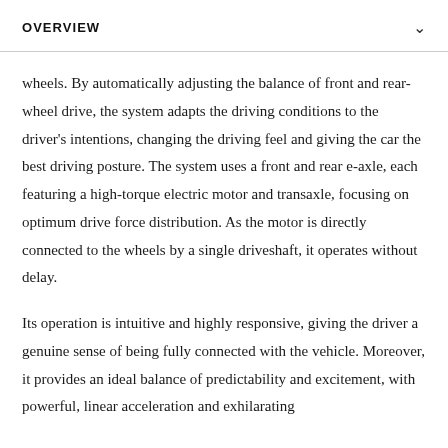OVERVIEW
wheels. By automatically adjusting the balance of front and rear-wheel drive, the system adapts the driving conditions to the driver's intentions, changing the driving feel and giving the car the best driving posture. The system uses a front and rear e-axle, each featuring a high-torque electric motor and transaxle, focusing on optimum drive force distribution. As the motor is directly connected to the wheels by a single driveshaft, it operates without delay.
Its operation is intuitive and highly responsive, giving the driver a genuine sense of being fully connected with the vehicle. Moreover, it provides an ideal balance of predictability and excitement, with powerful, linear acceleration and exhilarating